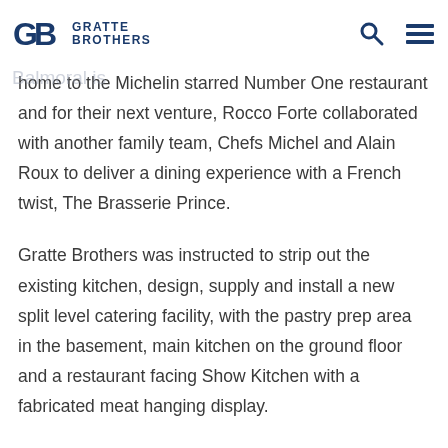Gratte Brothers [logo with GB icon, search icon, hamburger menu]
collection. The hotels, run as a family business, place an enormous focus on cuisine. The Balmoral is home to the Michelin starred Number One restaurant and for their next venture, Rocco Forte collaborated with another family team, Chefs Michel and Alain Roux to deliver a dining experience with a French twist, The Brasserie Prince.
Gratte Brothers was instructed to strip out the existing kitchen, design, supply and install a new split level catering facility, with the pastry prep area in the basement, main kitchen on the ground floor and a restaurant facing Show Kitchen with a fabricated meat hanging display.